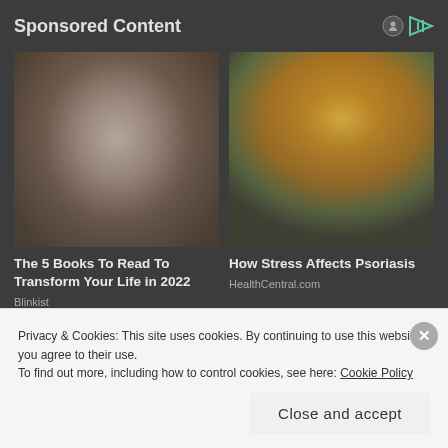Sponsored Content
[Figure (photo): Woman with braided/updo hair, red lips, white top – beauty/lifestyle ad image for Blinkist]
[Figure (photo): Blonde woman in yellow sweater looking at her arm/elbow – health ad image for HealthCentral.com]
The 5 Books To Read To Transform Your Life in 2022
Blinkist
How Stress Affects Psoriasis
HealthCentral.com
[Figure (other): Partial banner ad strip at bottom of page]
Privacy & Cookies: This site uses cookies. By continuing to use this website, you agree to their use.
To find out more, including how to control cookies, see here: Cookie Policy
Close and accept